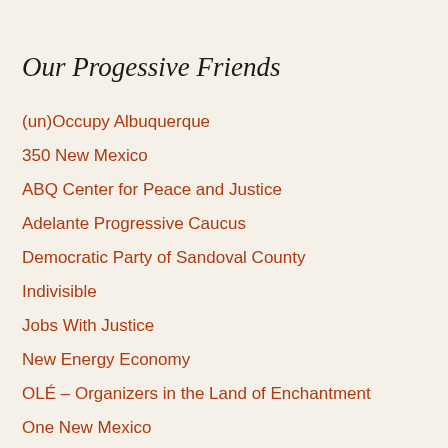Our Progessive Friends
(un)Occupy Albuquerque
350 New Mexico
ABQ Center for Peace and Justice
Adelante Progressive Caucus
Democratic Party of Sandoval County
Indivisible
Jobs With Justice
New Energy Economy
OLÉ – Organizers in the Land of Enchantment
One New Mexico
Our Revolution
PDA – National